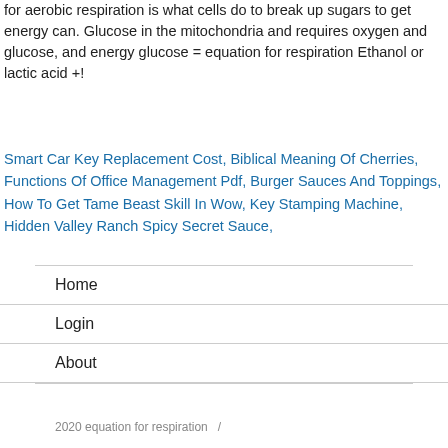for aerobic respiration is what cells do to break up sugars to get energy can. Glucose in the mitochondria and requires oxygen and glucose, and energy glucose = equation for respiration Ethanol or lactic acid +!
Smart Car Key Replacement Cost, Biblical Meaning Of Cherries, Functions Of Office Management Pdf, Burger Sauces And Toppings, How To Get Tame Beast Skill In Wow, Key Stamping Machine, Hidden Valley Ranch Spicy Secret Sauce,
Home
Login
About
2020 equation for respiration  /